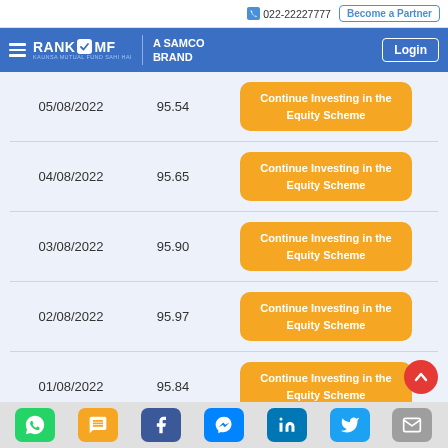022-22227777 | Become a Partner | RANKOMF A SAMCO BRAND | Login
| Date | NAV | Action |
| --- | --- | --- |
| 05/08/2022 | 95.54 | Continue Investing in the Equity Scheme |
| 04/08/2022 | 95.65 | Continue Investing in the Equity Scheme |
| 03/08/2022 | 95.90 | Continue Investing in the Equity Scheme |
| 02/08/2022 | 95.97 | Continue Investing in the Equity Scheme |
| 01/08/2022 | 95.84 | Continue Investing in the Equity Scheme |
Social share bar: WhatsApp, SMS, Facebook, Messenger, LinkedIn, Twitter, Email